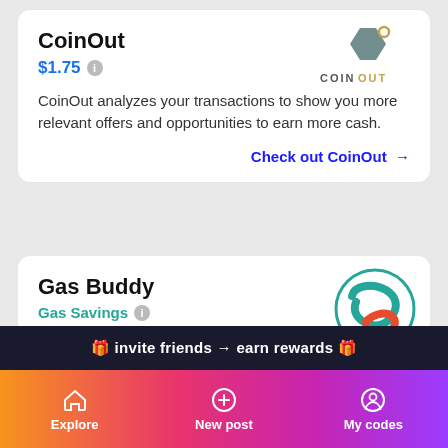CoinOut
$1.75
CoinOut analyzes your transactions to show you more relevant offers and opportunities to earn more cash.
Check out CoinOut →
[Figure (logo): CoinOut logo — hexagon shape with 'COINOUT' text]
Gas Buddy
Gas Savings
GasBuddy is a tech company based in Boston that operates apps and websites based on finding real-time fuel prices at more than 140,000 gas stations in the United
[Figure (logo): GasBuddy circular logo with teal and orange swoosh arrows]
🎁 invite friends → earn rewards 🎁
Explore   New post   My codes